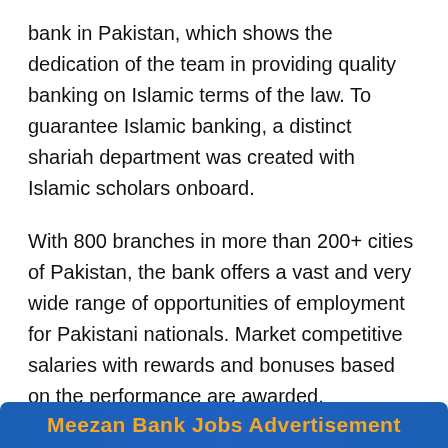bank in Pakistan, which shows the dedication of the team in providing quality banking on Islamic terms of the law. To guarantee Islamic banking, a distinct shariah department was created with Islamic scholars onboard.
With 800 branches in more than 200+ cities of Pakistan, the bank offers a vast and very wide range of opportunities of employment for Pakistani nationals. Market competitive salaries with rewards and bonuses based on the performance are awarded.
Meezan Bank Jobs Advertisement